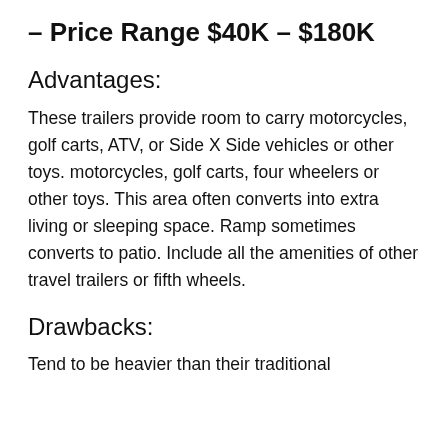– Price Range $40K – $180K
Advantages:
These trailers provide room to carry motorcycles, golf carts, ATV, or Side X Side vehicles or other toys. motorcycles, golf carts, four wheelers or other toys. This area often converts into extra living or sleeping space. Ramp sometimes converts to patio. Include all the amenities of other travel trailers or fifth wheels.
Drawbacks:
Tend to be heavier than their traditional